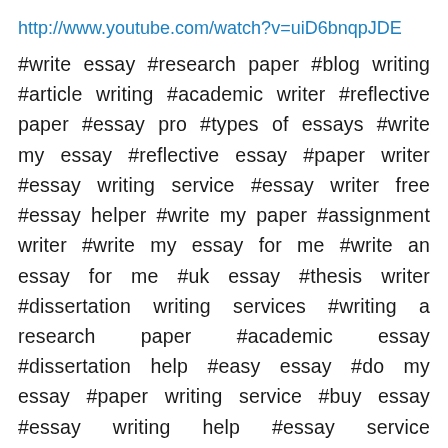http://www.youtube.com/watch?v=uiD6bnqpJDE
#write essay #research paper #blog writing #article writing #academic writer #reflective paper #essay pro #types of essays #write my essay #reflective essay #paper writer #essay writing service #essay writer free #essay helper #write my paper #assignment writer #write my essay for me #write an essay for me #uk essay #thesis writer #dissertation writing services #writing a research paper #academic essay #dissertation help #easy essay #do my essay #paper writing service #buy essay #essay writing help #essay service #dissertation writing #online essay writer #write my paper for me #types of